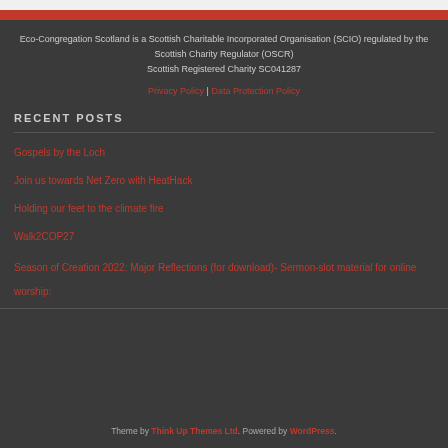Eco-Congregation Scotland is a Scottish Charitable Incorporated Organisation (SCIO) regulated by the Scottish Charity Regulator (OSCR) Scottish Registered Charity SC041287
Privacy Policy | Data Protection Policy
RECENT POSTS
Gospels by the Loch
Join us towards Net Zero with HeatHack
Holding our feet to the climate fire
Walk2COP27
Season of Creation 2022: Major Reflections (for download)- Sermon-slot material for online worship:
Theme by Think Up Themes Ltd. Powered by WordPress.